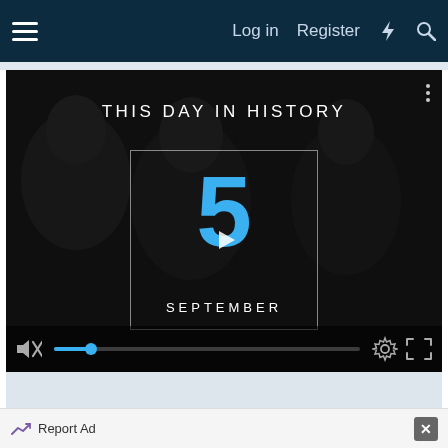Log in  Register
[Figure (screenshot): This Day in History video player showing September 5, with play button overlay, muted state, progress bar, settings and fullscreen controls]
[Figure (screenshot): BitLife advertisement banner with emoji characters (devil, girl, angel) and text 'BitLife REAL CHOICES' on orange/red background]
Report Ad